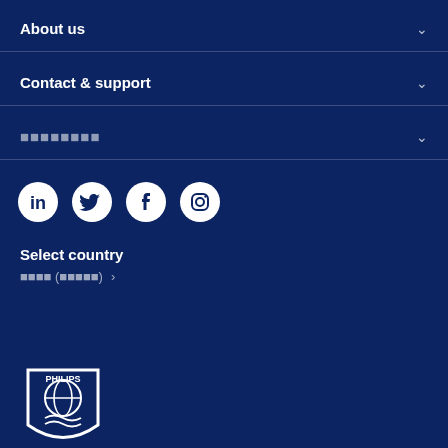About us
Contact & support
xxxxxxxx
[Figure (illustration): Social media icons row: LinkedIn, Twitter, Facebook, Instagram — white circle icons on dark navy background]
Select country
xxxx (xxxxx) >
[Figure (logo): Philips logo — white shield with globe/wave design and PHILIPS text]